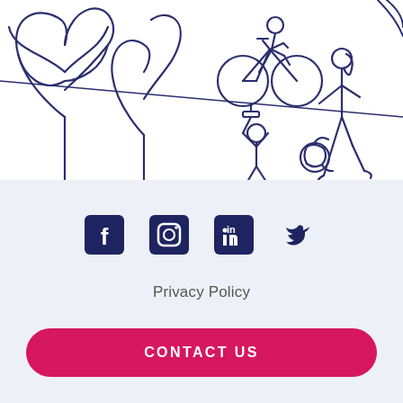[Figure (illustration): Line art illustration showing outdoor activity figures: trees on left, person riding bicycle, stick figure person on a zip line or rope swing, girl running with a soccer ball, all drawn in dark navy blue outline style]
[Figure (infographic): Social media icons row: Facebook, Instagram, LinkedIn, Twitter — all in dark navy square icons]
Privacy Policy
CONTACT US